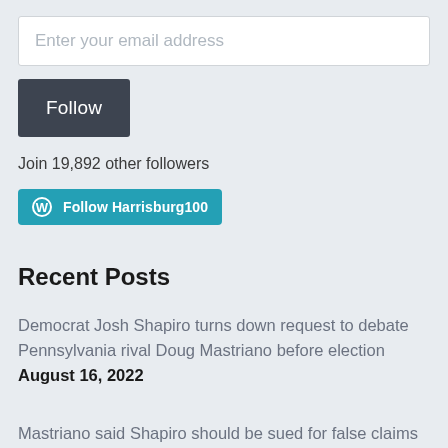Enter your email address
Follow
Join 19,892 other followers
[Figure (screenshot): WordPress Follow Harrisburg100 button in teal/cyan color]
Recent Posts
Democrat Josh Shapiro turns down request to debate Pennsylvania rival Doug Mastriano before election August 16, 2022
Mastriano said Shapiro should be sued for false claims made in TV advertisements August 10, 2022